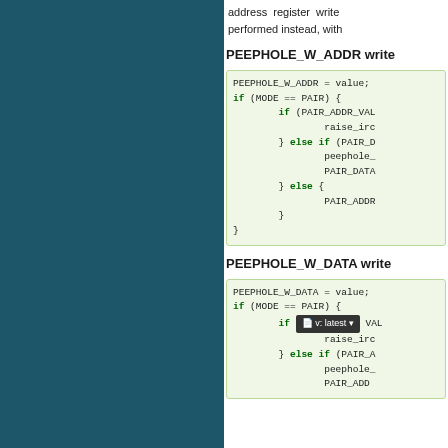address register write performed instead, with
PEEPHOLE_W_ADDR write
[Figure (screenshot): Code block showing PEEPHOLE_W_ADDR logic with if/else conditions for MODE == PAIR, PAIR_ADDR_VAL, raise_irc, PAIR_D, peephole_, PAIR_DATA, else PAIR_ADDR]
PEEPHOLE_W_DATA write
[Figure (screenshot): Code block showing PEEPHOLE_W_DATA logic with if MODE == PAIR, if VAL, raise_irc, else if PAIR_A, peephole_, PAIR_ADD, and a version badge showing 'v: latest']